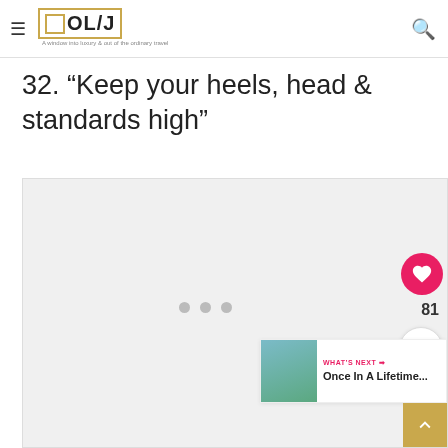OL/J — A window into luxury & out of the ordinary travel
32. “Keep your heels, head & standards high”
[Figure (photo): Large image placeholder with light gray background; three dots (carousel indicators) in the middle; social interaction buttons (heart/like with count 81, share) on the right edge; 'WHAT'S NEXT' teaser with thumbnail at bottom right; scroll-to-top gold button at bottom right corner.]